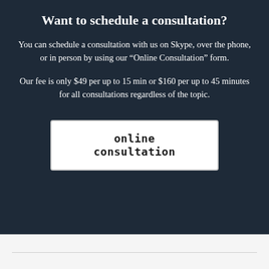Want to schedule a consultation?
You can schedule a consultation with us on Skype, over the phone, or in person by using our “Online Consultation” form.
Our fee is only $49 per up to 15 min or $160 per up to 45 minutes for all consultations regardless of the topic.
online consultation